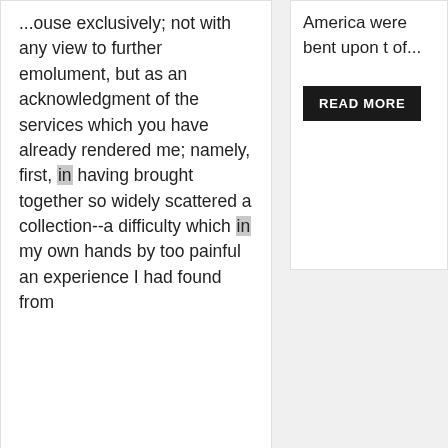...ouse exclusively; not with any view to further emolument, but as an acknowledgment of the services which you have already rendered me; namely, first, in having brought together so widely scattered a collection--a difficulty which in my own hands by too painful an experience I had found from
America were bent upon t of...
[Figure (screenshot): READ MORE button - dark/black background with white uppercase text]
[Figure (infographic): Toolbar with four icons: bar chart icon, list/menu icon, grid icon, and Tt (text) icon]